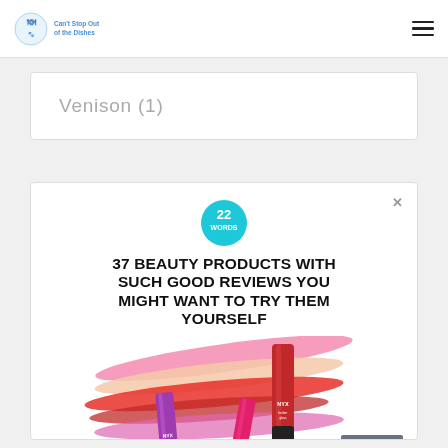Can't Stop Out of the Dishes
Venison (1)
[Figure (screenshot): Advertisement popup from '22 Words' website showing lipstick/beauty products with headline '37 BEAUTY PRODUCTS WITH SUCH GOOD REVIEWS YOU MIGHT WANT TO TRY THEM YOURSELF' and a CLOSE button]